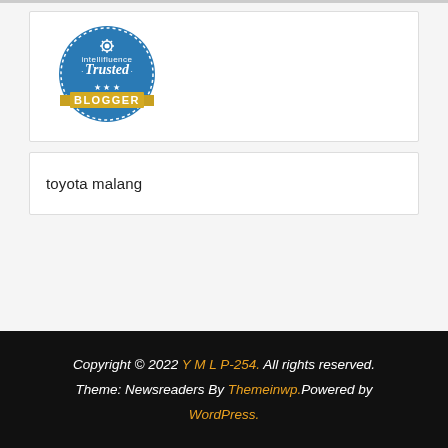[Figure (logo): Intellifluence Trusted Blogger badge — circular blue badge with gear icon, text 'intellifluence · Trusted ·' in white, and a gold ribbon banner at the bottom reading 'BLOGGER' with decorative stars]
toyota malang
Copyright © 2022 Y M L P-254. All rights reserved. Theme: Newsreaders By Themeinwp.Powered by WordPress.